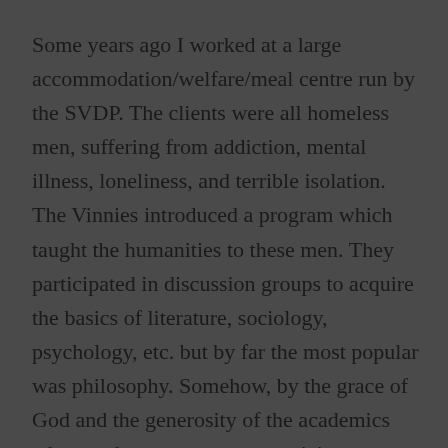Some years ago I worked at a large accommodation/welfare/meal centre run by the SVDP. The clients were all homeless men, suffering from addiction, mental illness, loneliness, and terrible isolation. The Vinnies introduced a program which taught the humanities to these men. They participated in discussion groups to acquire the basics of literature, sociology, psychology, etc. but by far the most popular was philosophy. Somehow, by the grace of God and the generosity of the academics who ran the groups, many participants gained the insights and,yes, the vocabulary, to make sense of their own situation. They could name what had happened to them and see their experiences as part of the 'ordinary' human experience, and themselves as